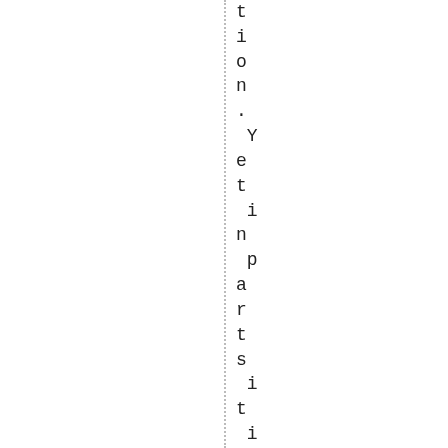tion. Yet in parts it is not only a pa